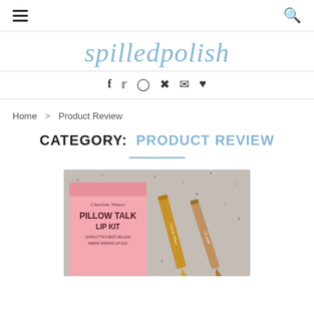Navigation bar with hamburger menu and search icon
spilledpolish
Social icons: Facebook, Twitter, Instagram, Pinterest, Email, Heart
Home > Product Review
CATEGORY: PRODUCT REVIEW
[Figure (photo): Charlotte Tilbury Pillow Talk Lip Kit product photo showing pink packaging box and gold lip liner pencil on granite background]